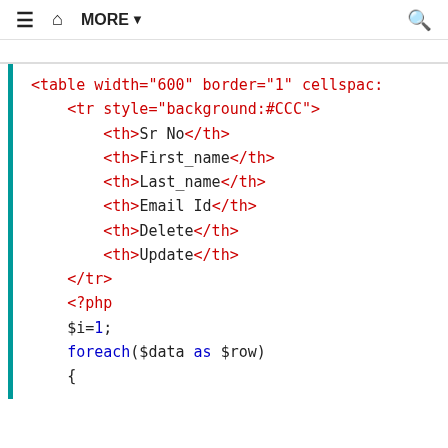≡  🏠  MORE ▼  🔍
<table width="600" border="1" cellspac:
    <tr style="background:#CCC">
        <th>Sr No</th>
        <th>First_name</th>
        <th>Last_name</th>
        <th>Email Id</th>
        <th>Delete</th>
        <th>Update</th>
    </tr>
    <?php
    $i=1;
    foreach($data as $row)
    {